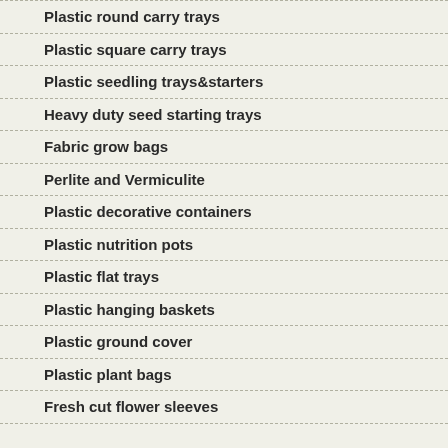Plastic round carry trays
Plastic square carry trays
Plastic seedling trays&starters
Heavy duty seed starting trays
Fabric grow bags
Perlite and Vermiculite
Plastic decorative containers
Plastic nutrition pots
Plastic flat trays
Plastic hanging baskets
Plastic ground cover
Plastic plant bags
Fresh cut flower sleeves